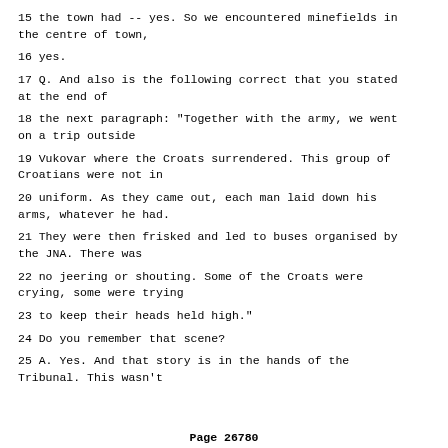15 the town had -- yes. So we encountered minefields in the centre of town,
16 yes.
17 Q. And also is the following correct that you stated at the end of
18 the next paragraph: "Together with the army, we went on a trip outside
19 Vukovar where the Croats surrendered. This group of Croatians were not in
20 uniform. As they came out, each man laid down his arms, whatever he had.
21 They were then frisked and led to buses organised by the JNA. There was
22 no jeering or shouting. Some of the Croats were crying, some were trying
23 to keep their heads held high."
24 Do you remember that scene?
25 A. Yes. And that story is in the hands of the Tribunal. This wasn't
Page 26780